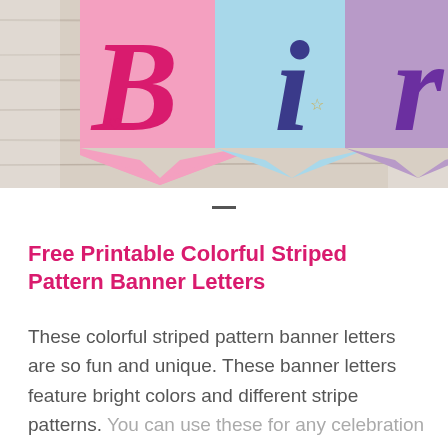[Figure (photo): Birthday banner letters photo showing colorful pennant flags with large letters 'B', 'i', 'r' in pink, light blue, and purple on a rustic wood background.]
Free Printable Colorful Striped Pattern Banner Letters
These colorful striped pattern banner letters are so fun and unique. These banner letters feature bright colors and different stripe patterns. You can use these for any celebration or craft project.